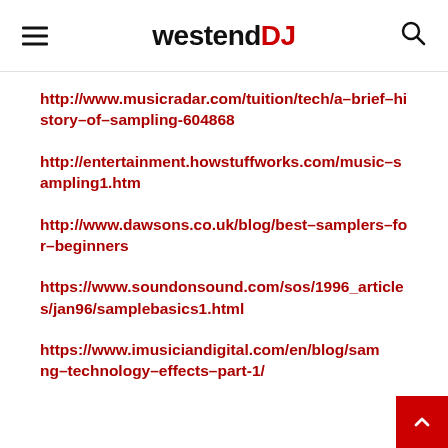westendDJ
http://www.musicradar.com/tuition/tech/a-brief-history-of-sampling-604868
http://entertainment.howstuffworks.com/music-sampling1.htm
http://www.dawsons.co.uk/blog/best-samplers-for-beginners
https://www.soundonsound.com/sos/1996_articles/jan96/samplebasics1.html
https://www.imusiciandigital.com/en/blog/sampling-technology-effects-part-1/